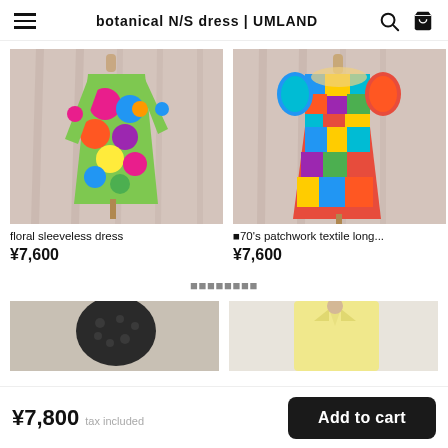botanical N/S dress | UMLAND
[Figure (photo): Floral sleeveless dress on mannequin with colorful green, pink, blue geometric floral pattern against pink curtain background]
floral sleeveless dress
¥7,600
[Figure (photo): 70's patchwork textile long dress on mannequin with bold red, blue, yellow, teal plaid/patchwork pattern against pink curtain background]
■70's patchwork textile long...
¥7,600
■■■■■■■■
[Figure (photo): Dark colored top/bag on light background, partially visible at bottom]
[Figure (photo): Light yellow top on person against white background, partially visible at bottom]
¥7,800  tax included
Add to cart